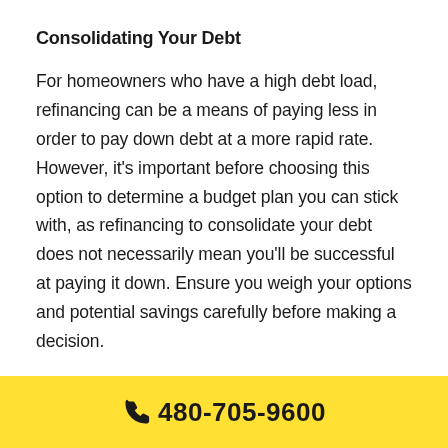Consolidating Your Debt
For homeowners who have a high debt load, refinancing can be a means of paying less in order to pay down debt at a more rapid rate. However, it’s important before choosing this option to determine a budget plan you can stick with, as refinancing to consolidate your debt does not necessarily mean you’ll be successful at paying it down. Ensure you weigh your options and potential savings carefully before making a decision.
480-705-9600